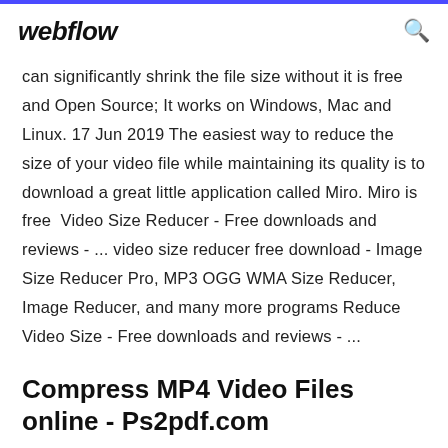webflow
can significantly shrink the file size without it is free and Open Source; It works on Windows, Mac and Linux. 17 Jun 2019 The easiest way to reduce the size of your video file while maintaining its quality is to download a great little application called Miro. Miro is free  Video Size Reducer - Free downloads and reviews - ... video size reducer free download - Image Size Reducer Pro, MP3 OGG WMA Size Reducer, Image Reducer, and many more programs Reduce Video Size - Free downloads and reviews - ...
Compress MP4 Video Files online - Ps2pdf.com